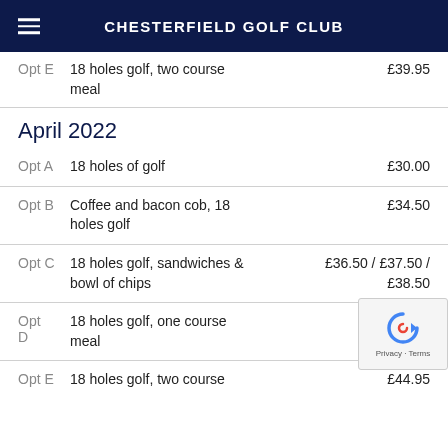CHESTERFIELD GOLF CLUB
Opt E  18 holes golf, two course meal  £39.95
April 2022
Opt A  18 holes of golf  £30.00
Opt B  Coffee and bacon cob, 18 holes golf  £34.50
Opt C  18 holes golf, sandwiches & bowl of chips  £36.50 / £37.50 / £38.50
Opt D  18 holes golf, one course meal
Opt E  18 holes golf, two course  £44.95